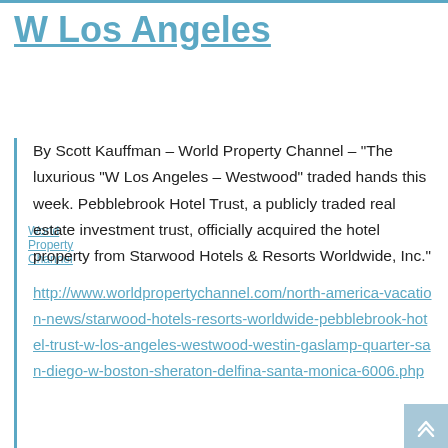W Los Angeles
World Property Channel
By Scott Kauffman – World Property Channel – "The luxurious "W Los Angeles – Westwood" traded hands this week. Pebblebrook Hotel Trust, a publicly traded real estate investment trust, officially acquired the hotel property from Starwood Hotels & Resorts Worldwide, Inc."
http://www.worldpropertychannel.com/north-america-vacation-news/starwood-hotels-resorts-worldwide-pebblebrook-hotel-trust-w-los-angeles-westwood-westin-gaslamp-quarter-san-diego-w-boston-sheraton-delfina-santa-monica-6006.php